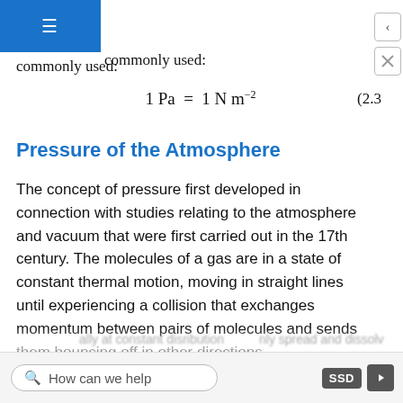meter, but we make such frequent use of it that a derived SI unit, the pascal, is commonly used:
Pressure of the Atmosphere
The concept of pressure first developed in connection with studies relating to the atmosphere and vacuum that were first carried out in the 17th century. The molecules of a gas are in a state of constant thermal motion, moving in straight lines until experiencing a collision that exchanges momentum between pairs of molecules and sends them bouncing off in other directions.